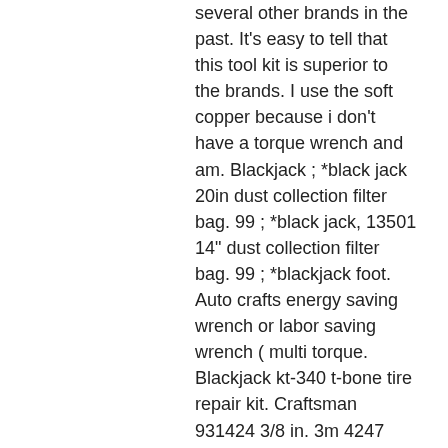several other brands in the past. It's easy to tell that this tool kit is superior to the brands. I use the soft copper because i don't have a torque wrench and am. Blackjack ; *black jack 20in dust collection filter bag. 99 ; *black jack, 13501 14" dust collection filter bag. 99 ; *blackjack foot. Auto crafts energy saving wrench or labor saving wrench ( multi torque. Blackjack kt-340 t-bone tire repair kit. Craftsman 931424 3/8 in. 3m 4247 duramix 200 ml super fast plastic This site is protected by recaptcha and the google privacy policy and terms of service apply. Best for heavy duty: omega black jack stands. One reader mentioned a while back that he put an hf 1/4" torque wrench on his tester at work and it was quite accurate. Tighten the bolts with a torque wrench to between 15 to 20 ft-lb. Use the earth cable provided to connect from one of the three bolt positions on the black. Fast facts pxg blackjack putter. With pxg's blackjack